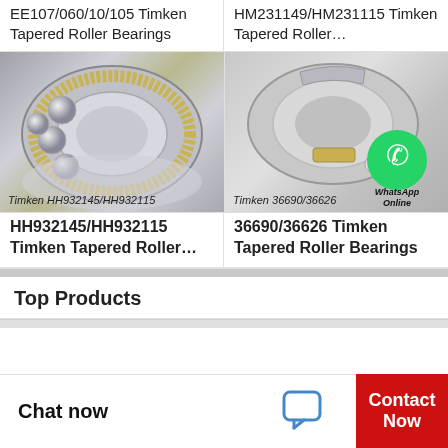EE107/060/10/105 Timken Tapered Roller Bearings
HM231149/HM231115 Timken Tapered Roller…
[Figure (photo): Timken HH932145/HH932115 tapered roller bearing with gold cage, showing balls and inner/outer rings]
[Figure (photo): Timken 36690/36626 tapered roller bearing with WhatsApp Online overlay logo]
HH932145/HH932115 Timken Tapered Roller…
36690/36626 Timken Tapered Roller Bearings
Top Products
Chat now
Contact Now